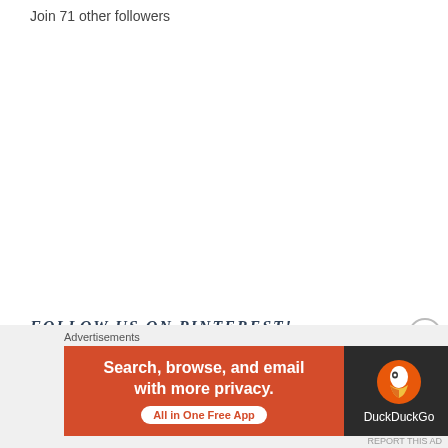Join 71 other followers
[Figure (other): WordPress Follow button: blue rounded rectangle with WordPress logo icon and text 'Follow The Meltdown Mama']
FOLLOW US ON PINTEREST!
Advertisements
[Figure (other): DuckDuckGo advertisement banner: orange left panel with text 'Search, browse, and email with more privacy. All in One Free App' and dark right panel with DuckDuckGo duck logo and text 'DuckDuckGo']